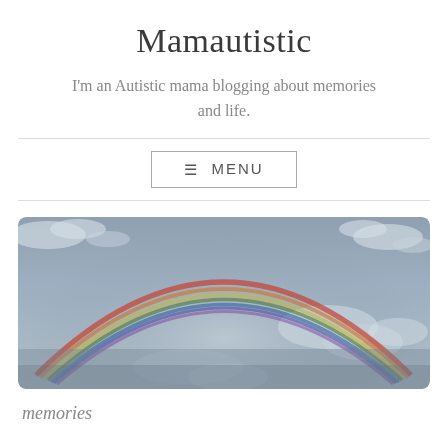Mamautistic
I'm an Autistic mama blogging about memories and life.
[Figure (photo): A wide panoramic photo of a rainbow arching across a partly cloudy grey and light blue sky with white clouds visible.]
memories